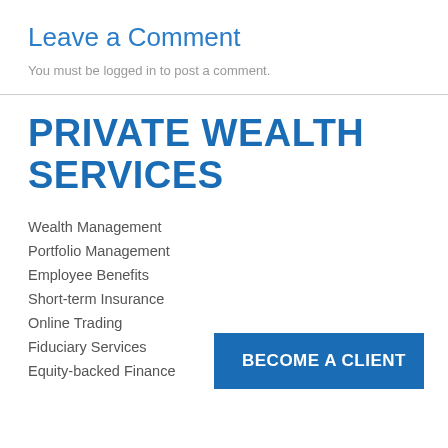Leave a Comment
You must be logged in to post a comment.
PRIVATE WEALTH SERVICES
Wealth Management
Portfolio Management
Employee Benefits
Short-term Insurance
Online Trading
Fiduciary Services
Equity-backed Finance
BECOME A CLIENT